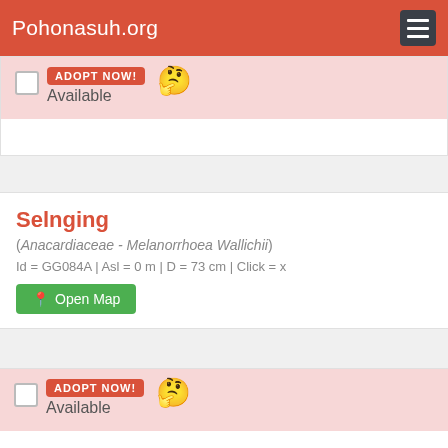Pohonasuh.org
ADOPT NOW!
Available
Selnging
(Anacardiaceae - Melanorrhoea Wallichii)
Id = GG084A | Asl = 0 m | D = 73 cm | Click = x
Open Map
ADOPT NOW!
Available
Salnging
(Anacardiaceae - Melanorrhoea Wallichii)
Id = GG084B | Asl = 0 m | D = 77 cm | Click = x